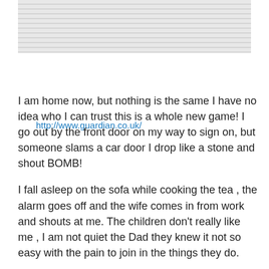[Figure (photo): Cropped photo of newspaper pages spread out]
http://www.guardian.co.uk/
I am home now, but nothing is the same I have no idea who I can trust this is a whole new game! I go out by the front door on my way to sign on, but someone slams a car door I drop like a stone and shout BOMB!
I fall asleep on the sofa while cooking the tea , the alarm goes off and the wife comes in from work and shouts at me. The children don't really like me , I am not quiet the Dad they knew it not so easy with the pain to join in the things they do.
I fought for my country so all of you could walk free. I have